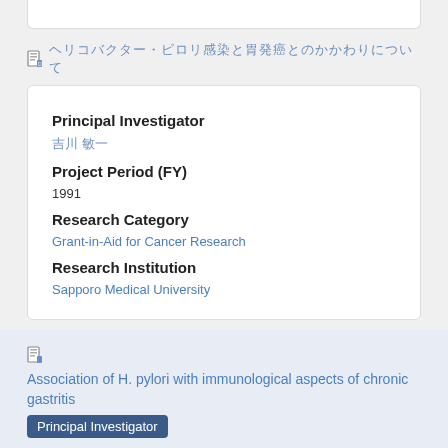[Japanese characters] (document link)
Principal Investigator
[Japanese name link]
Project Period (FY)
1991
Research Category
Grant-in-Aid for Cancer Research
Research Institution
Sapporo Medical University
Association of H. pylori with immunological aspects of chronic gastritis
Principal Investigator